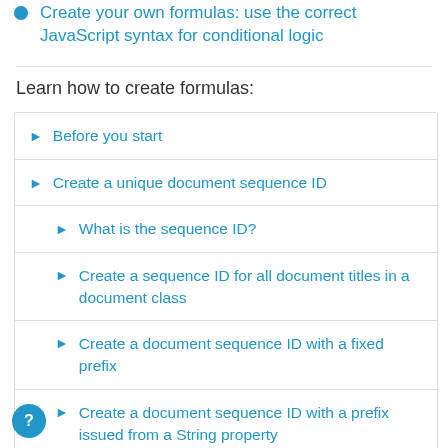Create your own formulas: use the correct JavaScript syntax for conditional logic
Learn how to create formulas:
Before you start
Create a unique document sequence ID
What is the sequence ID?
Create a sequence ID for all document titles in a document class
Create a document sequence ID with a fixed prefix
Create a document sequence ID with a prefix issued from a String property
Create a document sequence ID with a prefix issued from a Category property